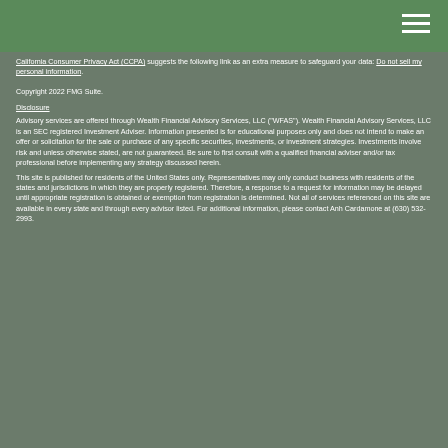California Consumer Privacy Act (CCPA) suggests the following link as an extra measure to safeguard your data: Do not sell my personal information.
Copyright 2022 FMG Suite.
Disclosure
Advisory services are offered through Wealth Financial Advisory Services, LLC ("WFAS"). Wealth Financial Advisory Services, LLC is an SEC registered Investment Adviser. Information presented is for educational purposes only and does not intend to make an offer or solicitation for the sale or purchase of any specific securities, investments, or investment strategies. Investments involve risk and unless otherwise stated, are not guaranteed. Be sure to first consult with a qualified financial adviser and/or tax professional before implementing any strategy discussed herein.
This site is published for residents of the United States only. Representatives may only conduct business with residents of the states and jurisdictions in which they are properly registered. Therefore, a response to a request for information may be delayed until appropriate registration is obtained or exemption from registration is determined. Not all of services referenced on this site are available in every state and through every advisor listed. For additional information, please contact Anh Cardamone at (630) 532-2993.